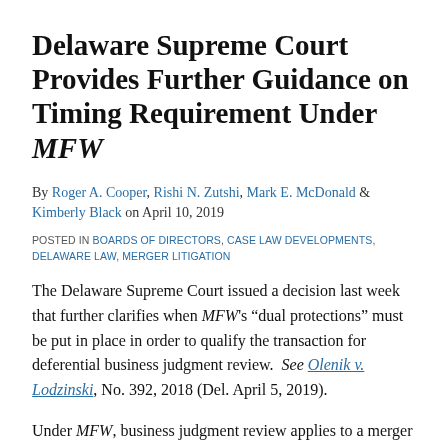Delaware Supreme Court Provides Further Guidance on Timing Requirement Under MFW
By Roger A. Cooper, Rishi N. Zutshi, Mark E. McDonald & Kimberly Black on April 10, 2019
POSTED IN BOARDS OF DIRECTORS, CASE LAW DEVELOPMENTS, DELAWARE LAW, MERGER LITIGATION
The Delaware Supreme Court issued a decision last week that further clarifies when MFW's “dual protections” must be put in place in order to qualify the transaction for deferential business judgment review.  See Olenik v. Lodzinski, No. 392, 2018 (Del. April 5, 2019).
Under MFW, business judgment review applies to a merger proposed by a controlling stockholder conditioned